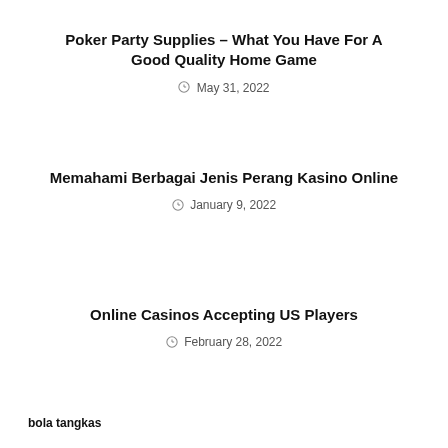Poker Party Supplies – What You Have For A Good Quality Home Game
May 31, 2022
Memahami Berbagai Jenis Perang Kasino Online
January 9, 2022
Online Casinos Accepting US Players
February 28, 2022
bola tangkas